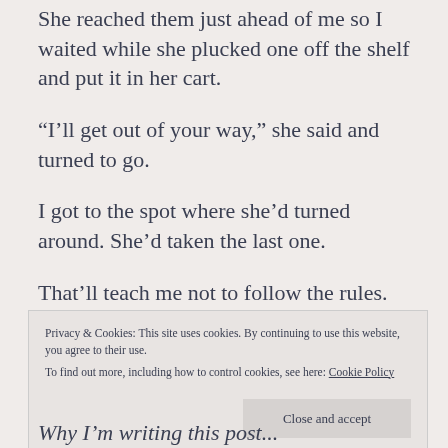She reached them just ahead of me so I waited while she plucked one off the shelf and put it in her cart.
“I’ll get out of your way,” she said and turned to go.
I got to the spot where she’d turned around. She’d taken the last one.
That’ll teach me not to follow the rules.
Nice guys always finish last, don’t they?
And so yeah, I forgot half of what I went for because after that I was distracted by the voice in my head
Privacy & Cookies: This site uses cookies. By continuing to use this website, you agree to their use.
To find out more, including how to control cookies, see here: Cookie Policy
Why I’m writing this post...